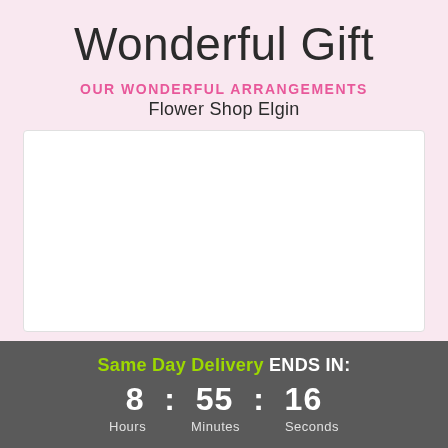Wonderful Gift
OUR WONDERFUL ARRANGEMENTS
Flower Shop Elgin
[Figure (photo): White blank image area representing a floral arrangement photo placeholder]
Same Day Delivery ENDS IN: 8 : 55 : 16 Hours Minutes Seconds